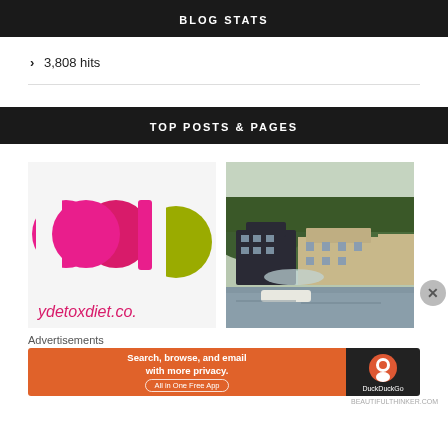BLOG STATS
> 3,808 hits
TOP POSTS & PAGES
[Figure (logo): mcd detoxdiet.co. logo with pink and olive green circles]
[Figure (photo): Photo of a lakeside hotel building with forested hills in background]
Advertisements
[Figure (screenshot): DuckDuckGo advertisement banner: Search, browse, and email with more privacy. All in One Free App]